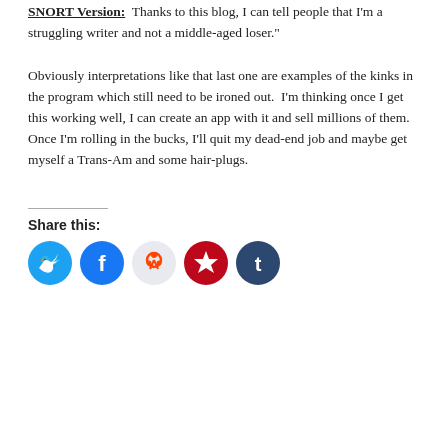SNORT Version:  Thanks to this blog, I can tell people that I'm a struggling writer and not a middle-aged loser."
Obviously interpretations like that last one are examples of the kinks in the program which still need to be ironed out.  I'm thinking once I get this working well, I can create an app with it and sell millions of them.  Once I'm rolling in the bucks, I'll quit my dead-end job and maybe get myself a Trans-Am and some hair-plugs.
Share this: